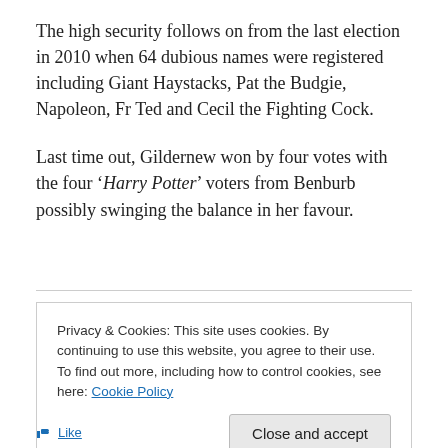The high security follows on from the last election in 2010 when 64 dubious names were registered including Giant Haystacks, Pat the Budgie, Napoleon, Fr Ted and Cecil the Fighting Cock.
Last time out, Gildernew won by four votes with the four ‘Harry Potter’ voters from Benburb possibly swinging the balance in her favour.
Privacy & Cookies: This site uses cookies. By continuing to use this website, you agree to their use.
To find out more, including how to control cookies, see here: Cookie Policy